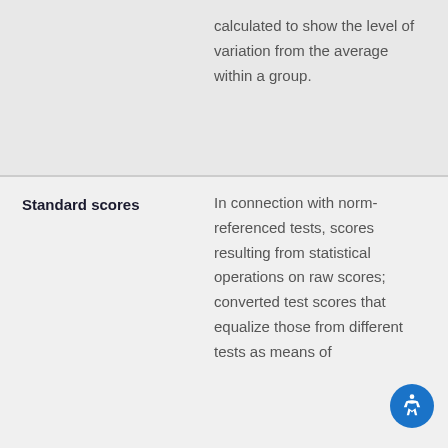calculated to show the level of variation from the average within a group.
Standard scores
In connection with norm-referenced tests, scores resulting from statistical operations on raw scores; converted test scores that equalize those from different tests as means of